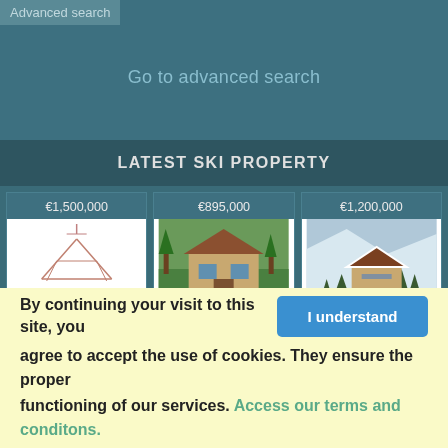Advanced search
Go to advanced search
LATEST SKI PROPERTY
[Figure (screenshot): Property listing card: €1,500,000, architectural sketch image, Sainte Foy]
[Figure (screenshot): Property listing card: €895,000, photo of Alpine chalet with green trees, Sainte Foy]
[Figure (screenshot): Property listing card: €1,200,000, snowy mountain chalet photo, Sainte Foy]
[Figure (screenshot): Property listing card: €699,500, partial view with blue sky roof]
[Figure (screenshot): Property listing card: €1,975,000, partial view of chalet]
[Figure (screenshot): Property listing card: €255,000, partial view with blue sky]
By continuing your visit to this site, you agree to accept the use of cookies. They ensure the proper functioning of our services. Access our terms and conditons.